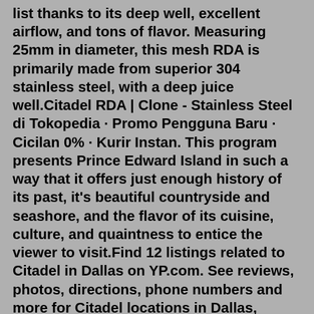list thanks to its deep well, excellent airflow, and tons of flavor. Measuring 25mm in diameter, this mesh RDA is primarily made from superior 304 stainless steel, with a deep juice well.Citadel RDA | Clone - Stainless Steel di Tokopedia · Promo Pengguna Baru · Cicilan 0% · Kurir Instan. This program presents Prince Edward Island in such a way that it offers just enough history of its past, it's beautiful countryside and seashore, and the flavor of its cuisine, culture, and quaintness to entice the viewer to visit.Find 12 listings related to Citadel in Dallas on YP.com. See reviews, photos, directions, phone numbers and more for Citadel locations in Dallas, TX.Product Features CITADEL RDA 22MM. 22mm Diameter. 29mm Tall. Dual Sided Slotted Posts. T-Shaped Post. Four Top Mounted Flat Head Screws. 4mm Wide Each Terminal. 5mm Deep Juice Well. Peek Insulators. (Disclaimer)Videos May Contain Adult Content/Language, Must be 21 years of age or olderWarning: This product contains nicotine. Nicotine is an addictive chem. The Citadel RDA is a